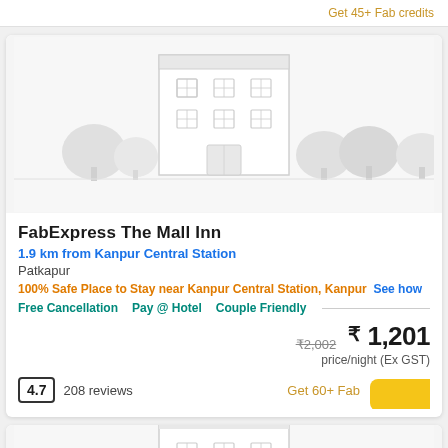Get 45+ Fab credits
[Figure (illustration): Hotel building illustration placeholder - grey outline of a hotel with trees]
FabExpress The Mall Inn
1.9 km from Kanpur Central Station
Patkapur
100% Safe Place to Stay near Kanpur Central Station, Kanpur  See how
Free Cancellation   Pay @ Hotel   Couple Friendly
₹2,002  ₹ 1,201
price/night (Ex GST)
4.7   208 reviews
Get 60+ Fab credits
[Figure (illustration): Partial hotel building illustration at the bottom of the page]